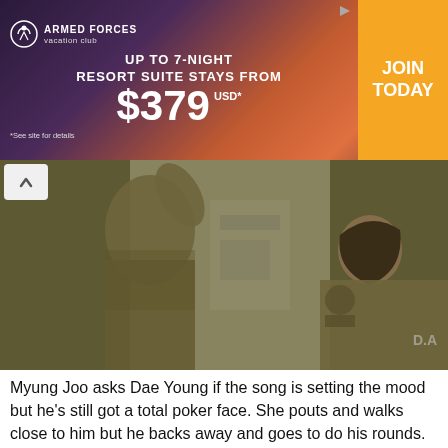[Figure (screenshot): Armed Forces vacation club advertisement banner. Dark purple/orange gradient background with tropical sunset silhouette. Text: 'UP TO 7-NIGHT RESORT SUITE STAYS FROM $379 USD*'. Yellow/orange CTA button with 'JOIN TODAY'. Fine print: '*See site for details'.]
[Figure (photo): Two people in military camouflage uniforms inside a building. One person on the left has their arm raised, the other on the right has short hair and faces right. Olive/khaki tones.]
Myung Joo asks Dae Young if the song is setting the mood but he's still got a total poker face. She pouts and walks close to him but he backs away and goes to do his rounds. Dude, you're giving poor Myung Joo the lady equivalent of blue balls.
[Figure (screenshot): Dark scene from a TV show with KBS2 watermark in top right. Silhouettes of people visible in dim lighting.]